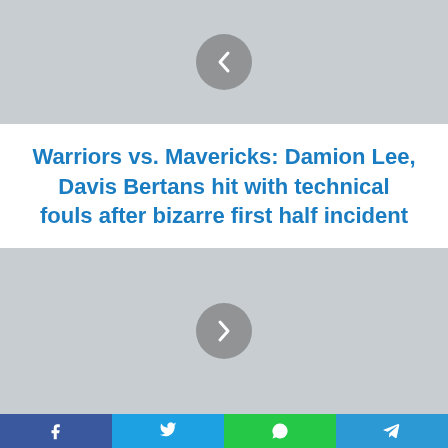[Figure (photo): Gray placeholder image with a left-pointing arrow button (carousel previous button)]
Warriors vs. Mavericks: Damion Lee, Davis Bertans hit with technical fouls after bizarre first half incident
[Figure (photo): Gray placeholder image with a right-pointing arrow button (carousel next button)]
Social share bar with Facebook, Twitter, WhatsApp, and Telegram buttons